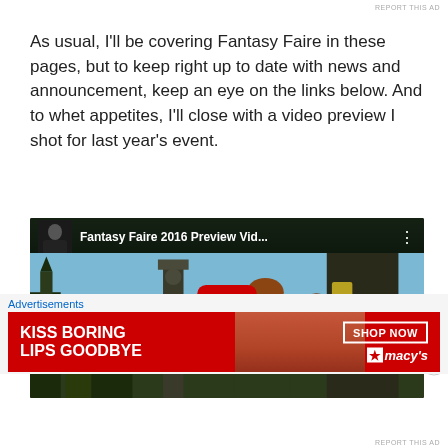As usual, I'll be covering Fantasy Faire in these pages, but to keep right up to date with news and announcement, keep an eye on the links below. And to whet appetites, I'll close with a video preview I shot for last year's event.
[Figure (screenshot): YouTube video embed showing 'Fantasy Faire 2016 Preview Vid...' with a play button overlay and fantasy game scenery thumbnail]
Advertisements
[Figure (photo): Macy's advertisement banner: 'KISS BORING LIPS GOODBYE' with SHOP NOW button and Macy's logo, featuring a woman's face with red lips]